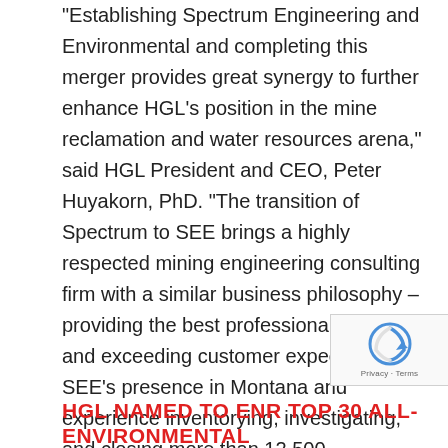“Establishing Spectrum Engineering and Environmental and completing this merger provides great synergy to further enhance HGL’s position in the mine reclamation and water resources arena,” said HGL President and CEO, Peter Huyakorn, PhD. “The transition of Spectrum to SEE brings a highly respected mining engineering consulting firm with a similar business philosophy – providing the best professional service and exceeding customer expectations.” SEE’s presence in Montana and experience inventorying, investigating, and closing more than 12,500 abandoned coal and hardrock mine sites throughout the world provides HGL with significant opportunity for growth and cross-selling additional services.
[Figure (other): reCAPTCHA badge with privacy and terms links]
HGL NAMED TO ENR TOP 30 ALL-ENVIRONMENTAL